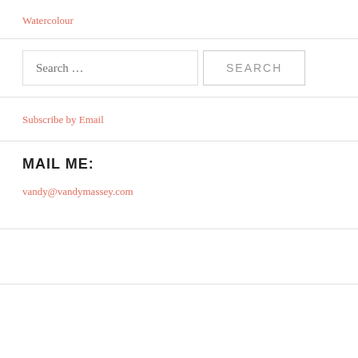Watercolour
Search …
Subscribe by Email
MAIL ME:
vandy@vandymassey.com